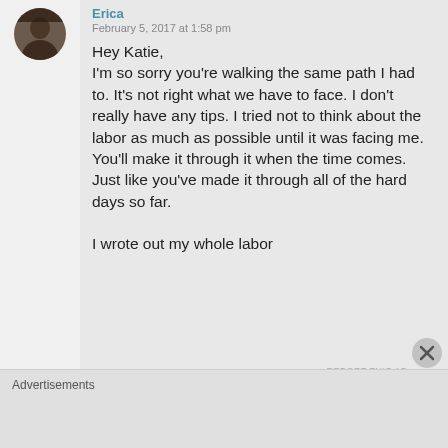Erica
February 5, 2017 at 1:58 pm
Hey Katie,
I'm so sorry you're walking the same path I had to. It's not right what we have to face. I don't really have any tips. I tried not to think about the labor as much as possible until it was facing me. You'll make it through it when the time comes. Just like you've made it through all of the hard days so far.

I wrote out my whole labor
Advertisements